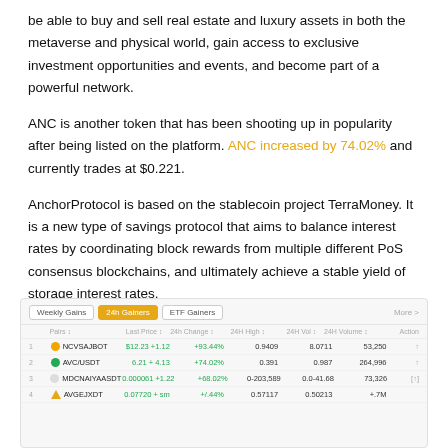be able to buy and sell real estate and luxury assets in both the metaverse and physical world, gain access to exclusive investment opportunities and events, and become part of a powerful network.
ANC is another token that has been shooting up in popularity after being listed on the platform. ANC increased by 74.02% and currently trades at $0.221.
AnchorProtocol is based on the stablecoin project TerraMoney. It is a new type of savings protocol that aims to balance interest rates by coordinating block rewards from multiple different PoS consensus blockchains, and ultimately achieve a stable yield of storage interest rates.
[Figure (screenshot): Screenshot of a crypto trading platform showing 24h Gainers tab with rows: NCVSAJBOT, AVC/USDT, MDCNAIYAASDT, AVGEJXDT with prices, changes, market cap, volume columns]